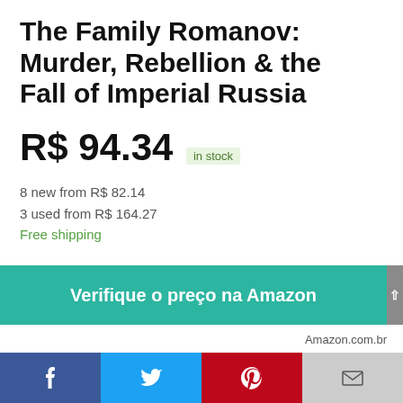The Family Romanov: Murder, Rebellion & the Fall of Imperial Russia
R$ 94.34  in stock
8 new from R$ 82.14
3 used from R$ 164.27
Free shipping
Verifique o preço na Amazon
Amazon.com.br
[Figure (other): Social media share bar with Facebook, Twitter, Pinterest, and Email buttons]